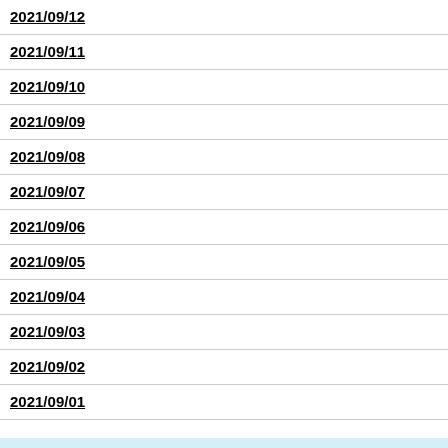2021/09/12
2021/09/11
2021/09/10
2021/09/09
2021/09/08
2021/09/07
2021/09/06
2021/09/05
2021/09/04
2021/09/03
2021/09/02
2021/09/01